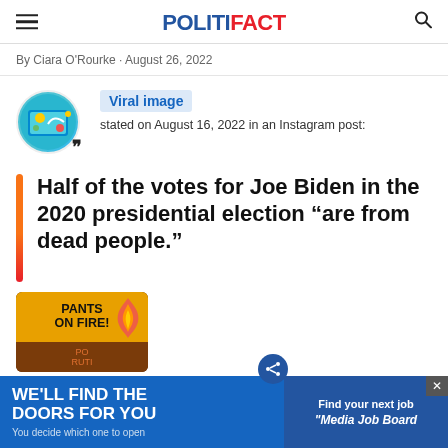POLITIFACT
By Ciara O'Rourke • August 26, 2022
Viral image stated on August 16, 2022 in an Instagram post:
Half of the votes for Joe Biden in the 2020 presidential election “are from dead people.”
[Figure (photo): Pants on Fire! rating image from PolitiFact]
[Figure (infographic): Advertisement banner: WE'LL FIND THE DOORS FOR YOU - You decide which one to open / Find your next job - Media Job Board]